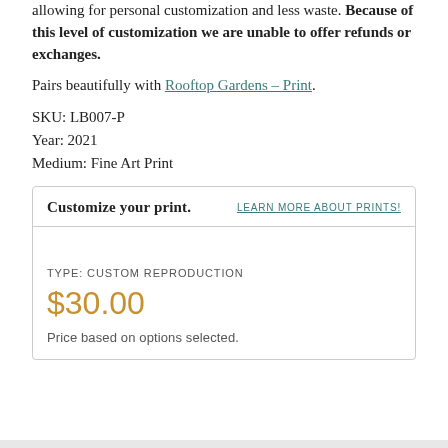allowing for personal customization and less waste. Because of this level of customization we are unable to offer refunds or exchanges.
Pairs beautifully with Rooftop Gardens - Print.
SKU: LB007-P
Year: 2021
Medium: Fine Art Print
Customize your print.
LEARN MORE ABOUT PRINTS!
TYPE: CUSTOM REPRODUCTION
$30.00
Price based on options selected.